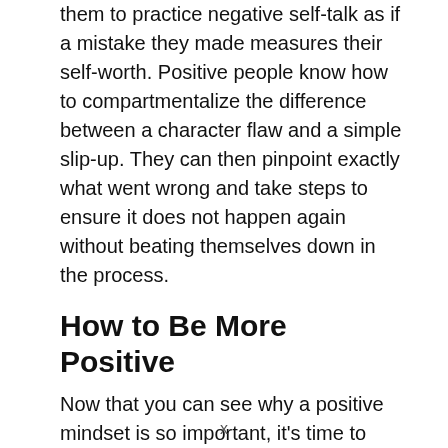them to practice negative self-talk as if a mistake they made measures their self-worth. Positive people know how to compartmentalize the difference between a character flaw and a simple slip-up. They can then pinpoint exactly what went wrong and take steps to ensure it does not happen again without beating themselves down in the process.
How to Be More Positive
Now that you can see why a positive mindset is so important, it's time to implement the practice of positivity to make it a daily habit. There are a few ways you can practice
x